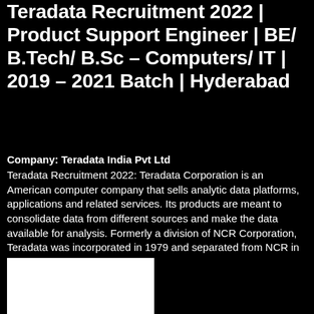Teradata Recruitment 2022 | Product Support Engineer | BE/ B.Tech/ B.Sc – Computers/ IT | 2019 – 2021 Batch | Hyderabad
Company: Teradata India Pvt Ltd
Teradata Recruitment 2022: Teradata Corporation is an American computer company that sells analytic data platforms, applications and related services. Its products are meant to consolidate data from different sources and make the data available for analysis. Formerly a division of NCR Corporation, Teradata was incorporated in 1979 and separated from NCR in October 2007.
[Figure (photo): A white rectangular image block at the bottom left, partially visible, appears to be a photo.]